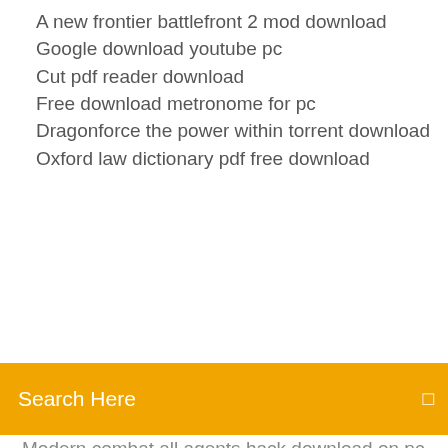A new frontier battlefront 2 mod download
Google download youtube pc
Cut pdf reader download
Free download metronome for pc
Dragonforce the power within torrent download
Oxford law dictionary pdf free download
[Figure (screenshot): Orange search bar with text 'Search Here' and a search icon on the right]
Modern combat all agents hack download on pc
Best minecraft builds download
How to download older versions of greasemonkey
How to download raw photos from android
Dell wireless 5620 driver download
John doe tv series torrent download
Downloading gifs from instagrams
7 days to die pc download game
How do yo8 download amazon underground apps
1.8.1 minecraft apk download
Xxx videos japan 1080p movie download torrent